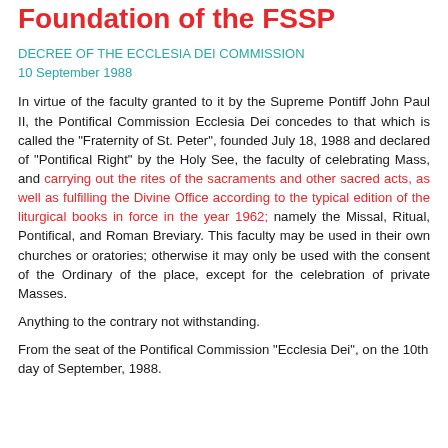Foundation of the FSSP
DECREE OF THE ECCLESIA DEI COMMISSION
10 September 1988
In virtue of the faculty granted to it by the Supreme Pontiff John Paul II, the Pontifical Commission Ecclesia Dei concedes to that which is called the "Fraternity of St. Peter", founded July 18, 1988 and declared of "Pontifical Right" by the Holy See, the faculty of celebrating Mass, and carrying out the rites of the sacraments and other sacred acts, as well as fulfilling the Divine Office according to the typical edition of the liturgical books in force in the year 1962; namely the Missal, Ritual, Pontifical, and Roman Breviary. This faculty may be used in their own churches or oratories; otherwise it may only be used with the consent of the Ordinary of the place, except for the celebration of private Masses.
Anything to the contrary not withstanding.
From the seat of the Pontifical Commission "Ecclesia Dei", on the 10th day of September, 1988.